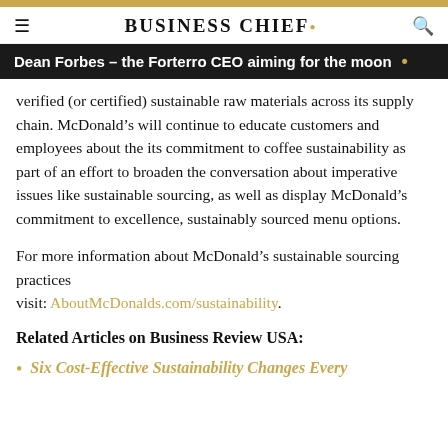BUSINESS CHIEF.
Dean Forbes – the Forterro CEO aiming for the moon
verified (or certified) sustainable raw materials across its supply chain. McDonald's will continue to educate customers and employees about the its commitment to coffee sustainability as part of an effort to broaden the conversation about imperative issues like sustainable sourcing, as well as display McDonald's commitment to excellence, sustainably sourced menu options.
For more information about McDonald's sustainable sourcing practices visit: AboutMcDonalds.com/sustainability.
Related Articles on Business Review USA:
Six Cost-Effective Sustainability Changes Every